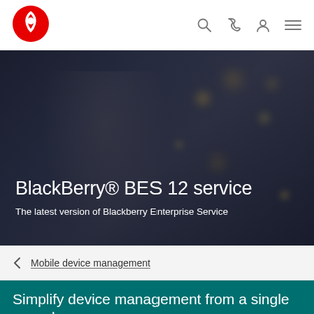[Figure (logo): Vodafone red circle logo]
Navigation icons: search, phone, account, menu
[Figure (photo): Woman on phone with blurred city bokeh background — hero image for BlackBerry BES 12 service page]
BlackBerry® BES 12 service
The latest version of Blackberry Enterprise Service
< Mobile device management
Simplify device management from a single console
BlackBerry® BES12 is the latest version of the BlackBerry®